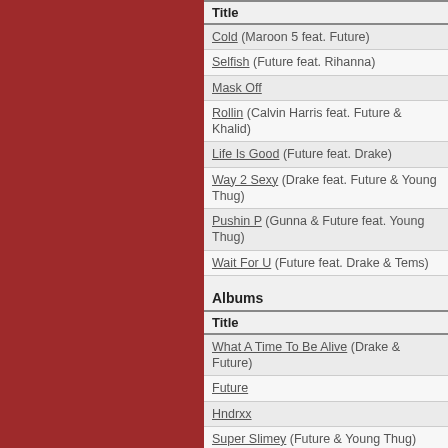| Title |
| --- |
| Cold (Maroon 5 feat. Future) |
| Selfish (Future feat. Rihanna) |
| Mask Off |
| Rollin (Calvin Harris feat. Future & Khalid) |
| Life Is Good (Future feat. Drake) |
| Way 2 Sexy (Drake feat. Future & Young Thug) |
| Pushin P (Gunna & Future feat. Young Thug) |
| Wait For U (Future feat. Drake & Tems) |
Albums
| Title |
| --- |
| What A Time To Be Alive (Drake & Future) |
| Future |
| Hndrxx |
| Super Slimey (Future & Young Thug) |
| Present... WRLD On Drugs (Future & Juice WRLD) |
| Future Hndrxx Presents: The Wizrd |
| High Off Life |
| Pluto x Baby Pluto (Future & Lil Uzi Vert) |
| I Never Liked You |
SONGS BY FUTURE
100 Shooters (Future feat. Meek Mill & Doe Boy)
1000 (N.E.R.D. & Future)
200 (Future & Young Thug)
2Pac